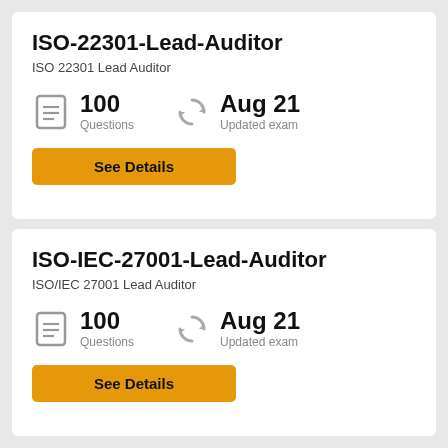ISO-22301-Lead-Auditor
ISO 22301 Lead Auditor
100 Questions
Aug 21 Updated exam
See Details
ISO-IEC-27001-Lead-Auditor
ISO/IEC 27001 Lead Auditor
100 Questions
Aug 21 Updated exam
See Details